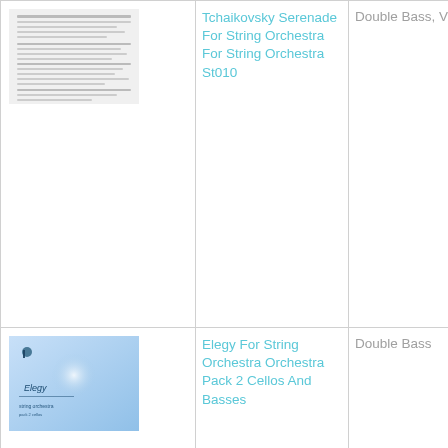| Image | Title | Instrument | Level |
| --- | --- | --- | --- |
| [sheet music image] | Tchaikovsky Serenade For String Orchestra For String Orchestra St010 | Double Bass, Violin | Intermediate |
| [elegy cover] | Elegy For String Orchestra Orchestra Pack 2 Cellos And Basses | Double Bass | Intermediate |
| [orchestra cover] | First Lesson Orchestra Orchestra Pieces For Beginning String Players |  | Beginning |
| [elegy cover] | Elegy For String Orchestra Orchestra | Viola | Intermediate |